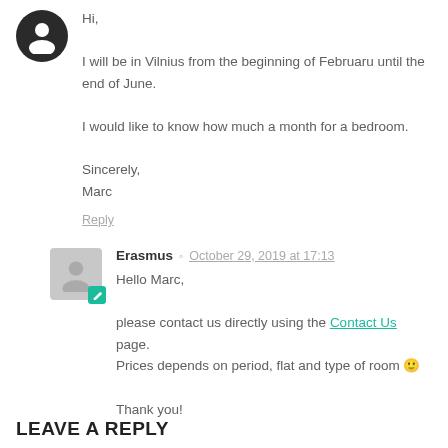Hi,

I will be in Vilnius from the beginning of Februaru until the end of June.

I would like to know how much a month for a bedroom.

Sincerely,
Marc
Reply
Erasmus  October 29, 2019 at 17:13

Hello Marc,

please contact us directly using the Contact Us page.
Prices depends on period, flat and type of room 🙂

Thank you!
Reply
LEAVE A REPLY